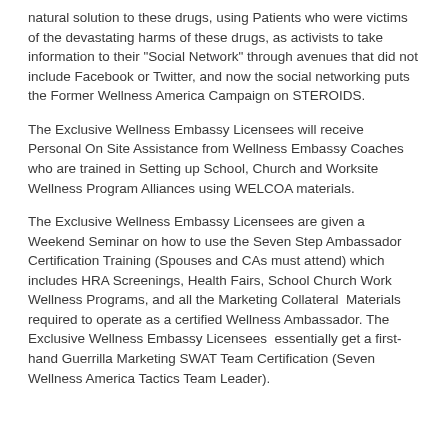natural solution to these drugs, using Patients who were victims of the devastating harms of these drugs, as activists to take information to their "Social Network" through avenues that did not include Facebook or Twitter, and now the social networking puts the Former Wellness America Campaign on STEROIDS.
The Exclusive Wellness Embassy Licensees will receive Personal On Site Assistance from Wellness Embassy Coaches who are trained in Setting up School, Church and Worksite Wellness Program Alliances using WELCOA materials.
The Exclusive Wellness Embassy Licensees are given a Weekend Seminar on how to use the Seven Step Ambassador Certification Training (Spouses and CAs must attend) which includes HRA Screenings, Health Fairs, School Church Work Wellness Programs, and all the Marketing Collateral  Materials required to operate as a certified Wellness Ambassador. The Exclusive Wellness Embassy Licensees  essentially get a first-hand Guerrilla Marketing SWAT Team Certification (Seven Wellness America Tactics Team Leader).